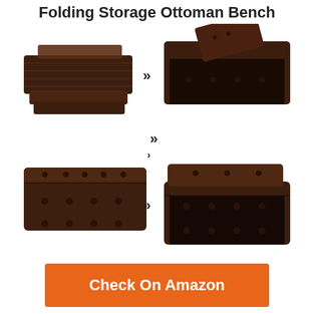Folding Storage Ottoman Bench
[Figure (photo): Four-step assembly illustration of a folding storage ottoman bench in dark brown faux leather. Top left shows flat panels/parts laid out. Top right shows partially assembled ottoman with lid open. Bottom left shows fully assembled closed ottoman. Bottom right shows assembled ottoman with lid open, showing interior storage. Arrows indicate the assembly sequence.]
Check On Amazon